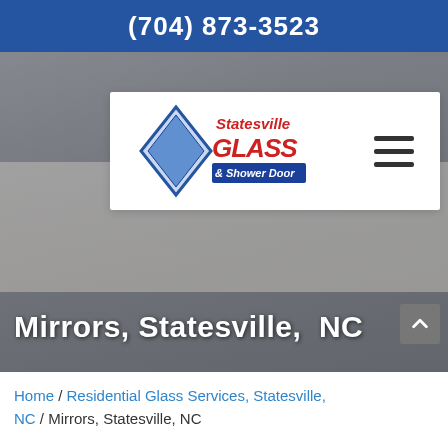(704) 873-3523
[Figure (logo): Statesville Glass & Shower Door logo with blue diamond shape]
[Figure (photo): Modern bathroom interior with white cabinets and countertop, dimmed overlay]
Mirrors, Statesville, NC
Home / Residential Glass Services, Statesville, NC / Mirrors, Statesville, NC